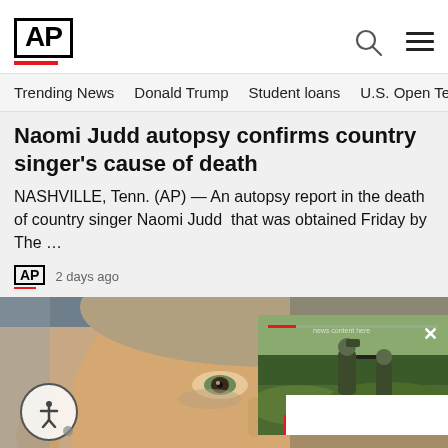AP
Trending News  Donald Trump  Student loans  U.S. Open Tenn
Naomi Judd autopsy confirms country singer's cause of death
NASHVILLE, Tenn. (AP) — An autopsy report in the death of country singer Naomi Judd  that was obtained Friday by The …
AP  2 days ago
[Figure (photo): Close-up photo of a man's face with a small video overlay in the lower right showing soldiers in a field]